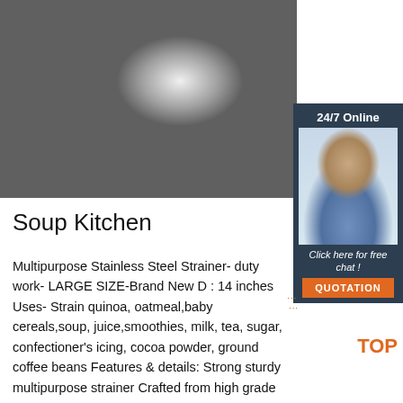[Figure (photo): Stainless steel mixing bowls/strainers arranged on a white surface with a wooden rolling pin and vegetables]
[Figure (photo): 24/7 Online customer service agent photo with chat widget showing 'Click here for free chat!' and QUOTATION button]
Soup Kitchen
Multipurpose Stainless Steel Strainer- duty work- LARGE SIZE-Brand New D : 14 inches Uses- Strain quinoa, oatmeal,baby cereals,soup, juice,smoothies, milk, tea, sugar, confectioner's icing, cocoa powder, ground coffee beans Features & details: Strong sturdy multipurpose strainer Crafted from high grade